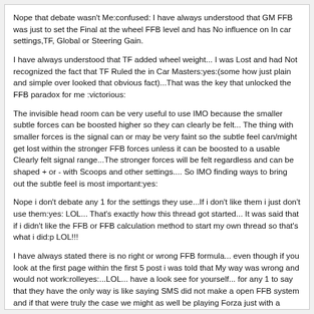Nope that debate wasn't Me:confused: I have always understood that GM FFB was just to set the Final at the wheel FFB level and has No influence on In car settings,TF, Global or Steering Gain.
I have always understood that TF added wheel weight... I was Lost and had Not recognized the fact that TF Ruled the in Car Masters:yes:(some how just plain and simple over looked that obvious fact)...That was the key that unlocked the FFB paradox for me :victorious:
The invisible head room can be very useful to use IMO because the smaller subtle forces can be boosted higher so they can clearly be felt... The thing with smaller forces is the signal can or may be very faint so the subtle feel can/might get lost within the stronger FFB forces unless it can be boosted to a usable Clearly felt signal range...The stronger forces will be felt regardless and can be shaped + or - with Scoops and other settings.... So IMO finding ways to bring out the subtle feel is most important:yes:
Nope i don't debate any 1 for the settings they use...If i don't like them i just don't use them:yes: LOL... That's exactly how this thread got started... It was said that if i didn't like the FFB or FFB calculation method to start my own thread so that's what i did:p LOL!!!
I have always stated there is no right or wrong FFB formula... even though if you look at the first page within the first 5 post i was told that My way was wrong and would not work:rolleyes:...LOL... have a look see for yourself... for any 1 to say that they have the only way is like saying SMS did not make a open FFB system and if that were truly the case we might as well be playing Forza just with a different wrapper and name brand:no: as long as every 1 is happy with their FFB that's all that really matters most:yes: This is what i have always said.
IMO GM FFB 100 is not needed for console because of this---> Note quote from your post "PC players who said they were 100/100 were actually attenuating the FF in the PC driver control panel, so it was more like 100/75 with attenuation" case and point:yes: GM FFB is the point that i have always debated:p